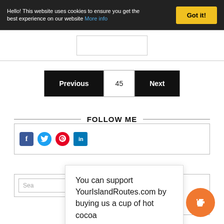Hello! This website uses cookies to ensure you get the best experience on our website More info
Got it!
Previous
45
Next
FOLLOW ME
[Figure (infographic): Social media icons: Facebook, Twitter, Pinterest, LinkedIn]
You can support YourIslandRoutes.com by buying us a cup of hot cocoa
Search
[Figure (illustration): Orange circular coffee cup button]